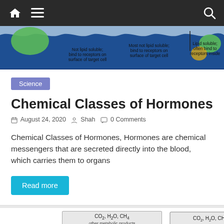Navigation bar with home, menu, and search icons
[Figure (illustration): Biology diagram banner showing hormone receptor types: 'Not lipid soluble; bind to receptors on surface of target cell', 'Most not lipid soluble; bind to receptors on surface of target cell', 'Lipid soluble; often bind to receptors inside']
Science
Chemical Classes of Hormones
August 24, 2020  Shah  0 Comments
Chemical Classes of Hormones, Hormones are chemical messengers that are secreted directly into the blood, which carries them to organs
Read more
[Figure (flowchart): Metabolic flowchart diagram showing CO2, H2O, CH4 and other metabolic products in a box at top, with an upward arrow, 'Excretion of extracellular enzymes' box at left, and 'Intermediates are assimilated into the' box at right]